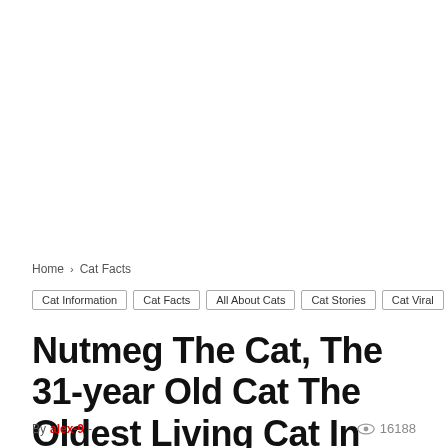Home › Cat Facts
Cat Information
Cat Facts
All About Cats
Cat Stories
Cat Viral
Nutmeg The Cat, The 31-year Old Cat The Oldest Living Cat In The World
By alex-9 -
16188